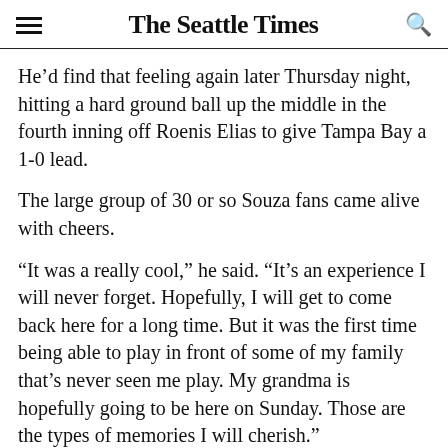The Seattle Times
He'd find that feeling again later Thursday night, hitting a hard ground ball up the middle in the fourth inning off Roenis Elias to give Tampa Bay a 1-0 lead.
The large group of 30 or so Souza fans came alive with cheers.
“It was a really cool,” he said. “It’s an experience I will never forget. Hopefully, I will get to come back here for a long time. But it was the first time being able to play in front of some of my family that’s never seen me play. My grandma is hopefully going to be here on Sunday. Those are the types of memories I will cherish.”